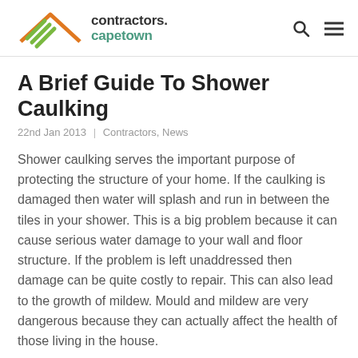contractors.capetown
A Brief Guide To Shower Caulking
22nd Jan 2013  |  Contractors, News
Shower caulking serves the important purpose of protecting the structure of your home. If the caulking is damaged then water will splash and run in between the tiles in your shower. This is a big problem because it can cause serious water damage to your wall and floor structure. If the problem is left unaddressed then damage can be quite costly to repair. This can also lead to the growth of mildew. Mould and mildew are very dangerous because they can actually affect the health of those living in the house.
If you do notice that the shower caulking or grout betw...